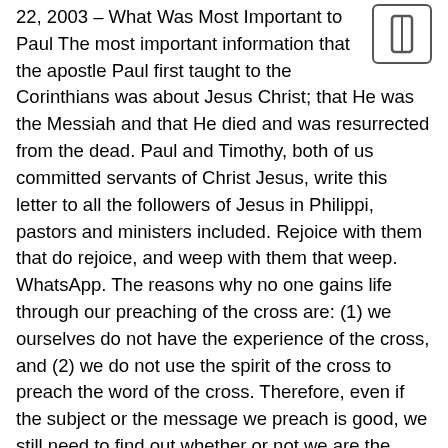22, 2003 – What Was Most Important to Paul The most important information that the apostle Paul first taught to the Corinthians was about Jesus Christ; that He was the Messiah and that He died and was resurrected from the dead. Paul and Timothy, both of us committed servants of Christ Jesus, write this letter to all the followers of Jesus in Philippi, pastors and ministers included. Rejoice with them that do rejoice, and weep with them that weep. WhatsApp. The reasons why no one gains life through our preaching of the cross are: (1) we ourselves do not have the experience of the cross, and (2) we do not use the spirit of the cross to preach the word of the cross. Therefore, even if the subject or the message we preach is good, we still need to find out whether or not we are the suitable channels for God to convey life into others. For the past fifty years, and unknown to most church-goers there has been a debate raging among New Testament scholars. The message Paul preached was the Lord Jesus Christ and Him crucified. These spiritual qualities are indestructible because they have their source in Christ, who is always with us. The idea that everything works out and has a deeper meaning reveals the importance behind giving your undying faith to God. -Ephesians 1:10. Discipleship is not knowing more information about Jesus, but knowing Jesus and being transformed into His image through the constant exposure of the Gospel of grace. -Ephesians 2:4-9. Paul Walker's daughter,